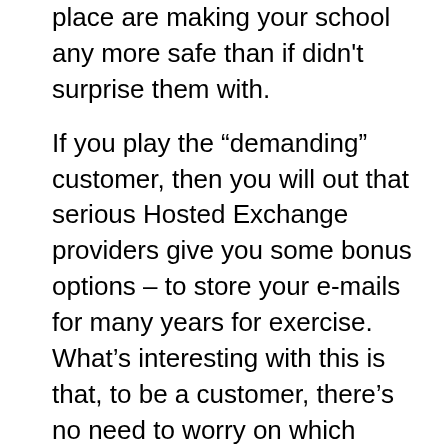place are making your school any more safe than if didn't surprise them with.
If you play the “demanding” customer, then you will out that serious Hosted Exchange providers give you some bonus options – to store your e-mails for many years for exercise. What’s interesting with this is that, to be a customer, there’s no need to worry on which device they’ll store your e-mail, the only goal to you is possible have in order to it anytime it: forget about the scratched DVD, nor lost media device. Should technology evolve and aged ones become obsolete: it isn’t your problem – that is why issue of your Hosted Exchange provider.